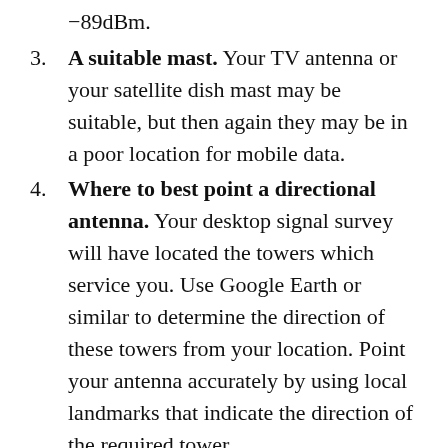-89dBm.
3. A suitable mast. Your TV antenna or your satellite dish mast may be suitable, but then again they may be in a poor location for mobile data.
4. Where to best point a directional antenna. Your desktop signal survey will have located the towers which service you. Use Google Earth or similar to determine the direction of these towers from your location. Point your antenna accurately by using local landmarks that indicate the direction of the required tower.
5. A gas arrestor may assist in lightning protection of your equipment. Install a gas arrestor and grounding (as required). Seek professional advice for critical installations.